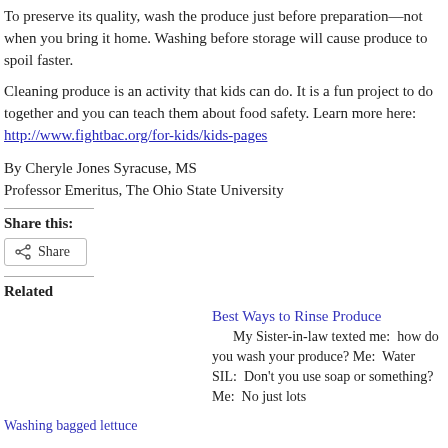To preserve its quality, wash the produce just before preparation—not when you bring it home. Washing before storage will cause produce to spoil faster.
Cleaning produce is an activity that kids can do. It is a fun project to do together and you can teach them about food safety. Learn more here: http://www.fightbac.org/for-kids/kids-pages
By Cheryle Jones Syracuse, MS
Professor Emeritus, The Ohio State University
Share this:
Related
Best Ways to Rinse Produce
My Sister-in-law texted me:  how do you wash your produce? Me:  Water SIL:  Don't you use soap or something? Me:  No just lots
Washing bagged lettuce